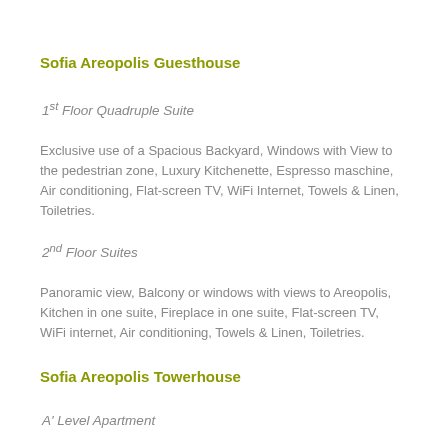Sofia Areopolis Guesthouse
1st Floor Quadruple Suite
Exclusive use of a Spacious Backyard, Windows with View to the pedestrian zone, Luxury Kitchenette, Espresso maschine, Air conditioning, Flat-screen TV, WiFi Internet, Towels & Linen, Toiletries.
2nd Floor Suites
Panoramic view, Balcony or windows with views to Areopolis, Kitchen in one suite, Fireplace in one suite, Flat-screen TV, WiFi internet, Air conditioning, Towels & Linen, Toiletries.
Sofia Areopolis Towerhouse
A' Level Apartment